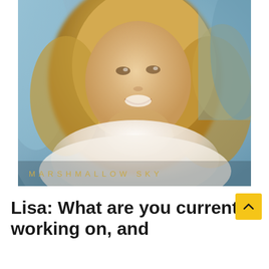[Figure (photo): Album cover for 'Marshmallow Sky' — a smiling blonde woman lying against a blue fabric background, wearing white clothing. The album title 'MARSHMALLOW SKY' appears in gold spaced capital letters at the bottom of the image.]
Lisa: What are you currently working on, and